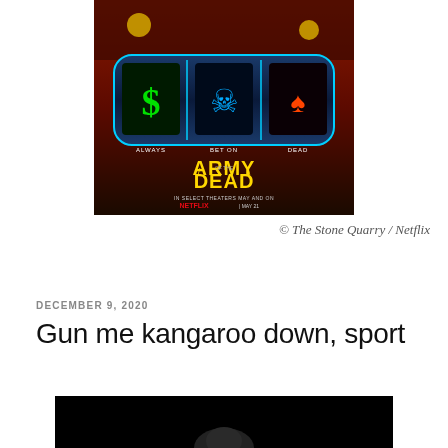[Figure (photo): Movie poster for 'Army of the Dead' (Netflix). Dark background with neon-lit slot machine imagery showing a dollar sign, skull and crossbones, and a zombie symbol, with text 'ALWAYS BET ON DEAD' and 'ARMY OF THE DEAD'. Bottom text reads 'IN SELECT THEATERS MAY AND ON NETFLIX | MAY 21'.]
© The Stone Quarry / Netflix
DECEMBER 9, 2020
Gun me kangaroo down, sport
[Figure (photo): Partial bottom image, dark background with a figure visible, appears to be a movie still.]